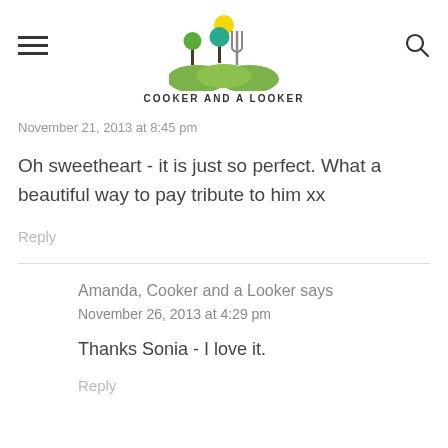COOKER AND A LOOKER
November 21, 2013 at 8:45 pm
Oh sweetheart - it is just so perfect. What a beautiful way to pay tribute to him xx
Reply
Amanda, Cooker and a Looker says
November 26, 2013 at 4:29 pm
Thanks Sonia - I love it.
Reply